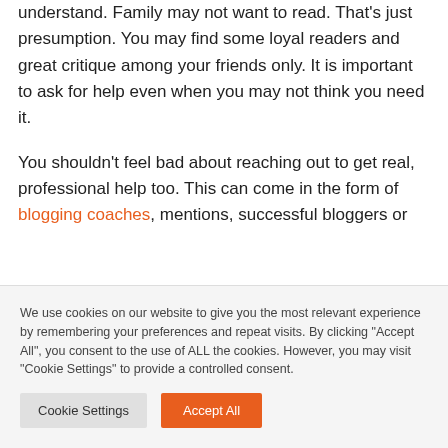understand. Family may not want to read. That's just presumption. You may find some loyal readers and great critique among your friends only. It is important to ask for help even when you may not think you need it.
You shouldn't feel bad about reaching out to get real, professional help too. This can come in the form of blogging coaches, mentions, successful bloggers or [text cut off]
We use cookies on our website to give you the most relevant experience by remembering your preferences and repeat visits. By clicking "Accept All", you consent to the use of ALL the cookies. However, you may visit "Cookie Settings" to provide a controlled consent.